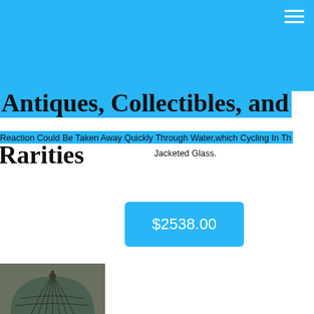Antiques, Collectibles, and Rarities
Reaction Could Be Taken Away Quickly Through Water,which Cycling In The Jacketed Glass.
$2538.00
[Figure (photo): Product photo of an antique lamp with a dome-shaped stained glass shade, photographed indoors]